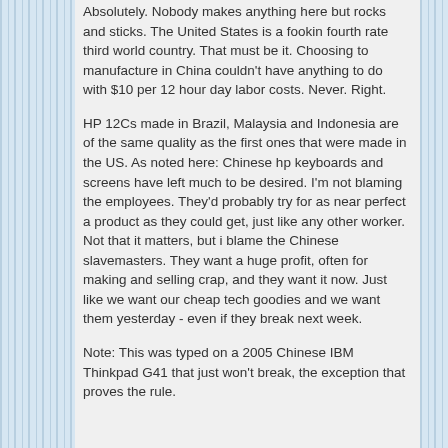Absolutely. Nobody makes anything here but rocks and sticks. The United States is a fookin fourth rate third world country. That must be it. Choosing to manufacture in China couldn't have anything to do with $10 per 12 hour day labor costs. Never. Right.
HP 12Cs made in Brazil, Malaysia and Indonesia are of the same quality as the first ones that were made in the US. As noted here: Chinese hp keyboards and screens have left much to be desired. I'm not blaming the employees. They'd probably try for as near perfect a product as they could get, just like any other worker. Not that it matters, but i blame the Chinese slavemasters. They want a huge profit, often for making and selling crap, and they want it now. Just like we want our cheap tech goodies and we want them yesterday - even if they break next week.
Note: This was typed on a 2005 Chinese IBM Thinkpad G41 that just won't break, the exception that proves the rule.